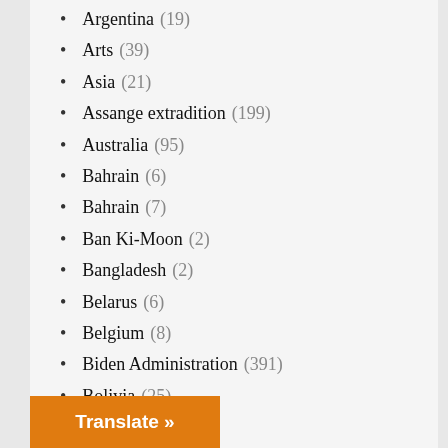Argentina (19)
Arts (39)
Asia (21)
Assange extradition (199)
Australia (95)
Bahrain (6)
Bahrain (7)
Ban Ki-Moon (2)
Bangladesh (2)
Belarus (6)
Belgium (8)
Biden Administration (391)
Bolivia (25)
Books (100)
Brazil (45)
Britain (385)
Campaign 2016 (1,069)
Campaign 2020 (170)